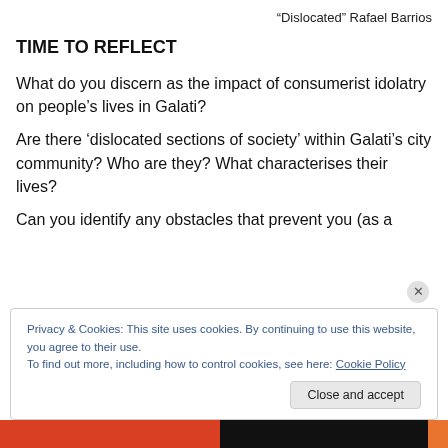“Dislocated” Rafael Barrios
TIME TO REFLECT
What do you discern as the impact of consumerist idolatry on people’s lives in Galati?
Are there ‘dislocated sections of society’ within Galati’s city community? Who are they? What characterises their lives?
Can you identify any obstacles that prevent you (as a
Privacy & Cookies: This site uses cookies. By continuing to use this website, you agree to their use.
To find out more, including how to control cookies, see here: Cookie Policy